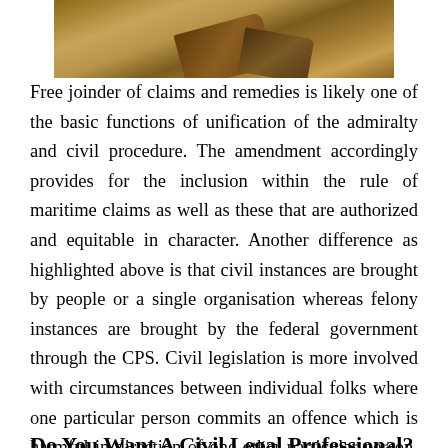[Figure (photo): Photo of books on a wooden surface, appearing to be legal or reference books]
Free joinder of claims and remedies is likely one of the basic functions of unification of the admiralty and civil procedure. The amendment accordingly provides for the inclusion within the rule of maritime claims as well as these that are authorized and equitable in character. Another difference as highlighted above is that civil instances are brought by people or a single organisation whereas felony instances are brought by the federal government through the CPS. Civil legislation is more involved with circumstances between individual folks where one particular person commits an offence which is harmful in direction of one other particular person, their rights or their property. Civil law also settles disputes between individuals and organisations. The standard of proof for felony legislation circumstances is “beyond an inexpensive doubt” or “sure so you could be positive.” These each imply the identical thing. If a person breaches felony law, then they will face felony prosecution by the state.
Do You Want A Civil Legal Professional?